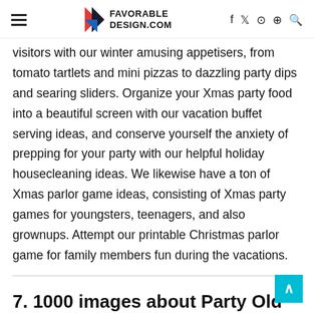FAVORABLE DESIGN.COM
visitors with our winter amusing appetisers, from tomato tartlets and mini pizzas to dazzling party dips and searing sliders. Organize your Xmas party food into a beautiful screen with our vacation buffet serving ideas, and conserve yourself the anxiety of prepping for your party with our helpful holiday housecleaning ideas. We likewise have a ton of Xmas parlor game ideas, consisting of Xmas party games for youngsters, teenagers, and also grownups. Attempt our printable Christmas parlor game for family members fun during the vacations.
7. 1000 images about Party Old fashioned Christmas on